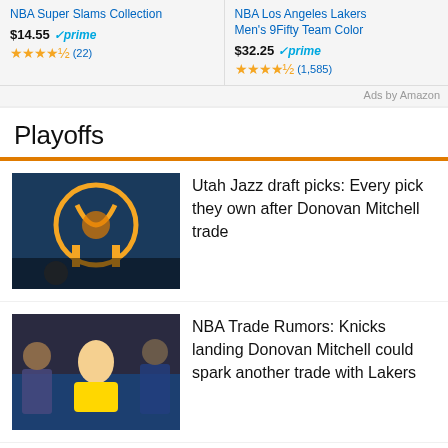NBA Super Slams Collection — $14.55 prime ★★★★½ (22)
NBA Los Angeles Lakers Men's 9Fifty Team Color — $32.25 prime ★★★★½ (1,585)
Ads by Amazon
Playoffs
Utah Jazz draft picks: Every pick they own after Donovan Mitchell trade
NBA Trade Rumors: Knicks landing Donovan Mitchell could spark another trade with Lakers
Kevin Durant rumors: Celtics offer mega-trade